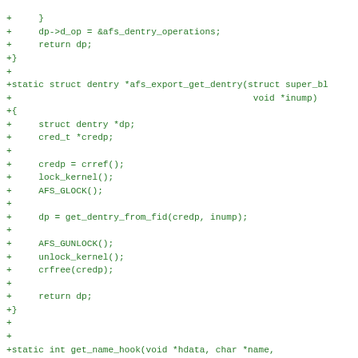[Figure (screenshot): Source code diff showing C code additions for AFS filesystem export functions including afs_export_get_dentry and get_name_hook in green monospace font]